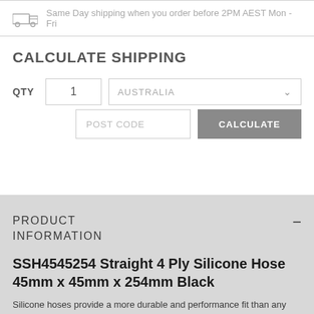Same Day shipping when you order before 2PM AEST Mon - Fri
CALCULATE SHIPPING
QTY  1  AUSTRALIA  POST CODE  CALCULATE
PRODUCT INFORMATION
SSH4545254 Straight 4 Ply Silicone Hose 45mm x 45mm x 254mm Black
Silicone hoses provide a more durable and performance fit than any comparable rubber equivalent. The gloss finish in